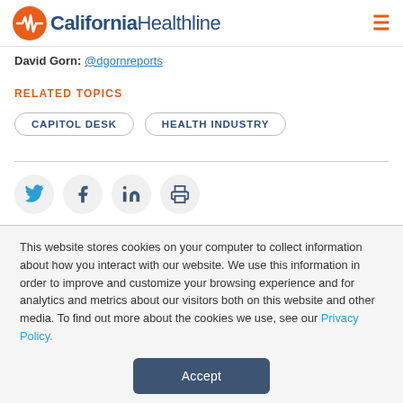California Healthline
David Gorn: @dgornreports
RELATED TOPICS
CAPITOL DESK
HEALTH INDUSTRY
[Figure (infographic): Social share icons: Twitter, Facebook, LinkedIn, Print]
This website stores cookies on your computer to collect information about how you interact with our website. We use this information in order to improve and customize your browsing experience and for analytics and metrics about our visitors both on this website and other media. To find out more about the cookies we use, see our Privacy Policy.
Accept